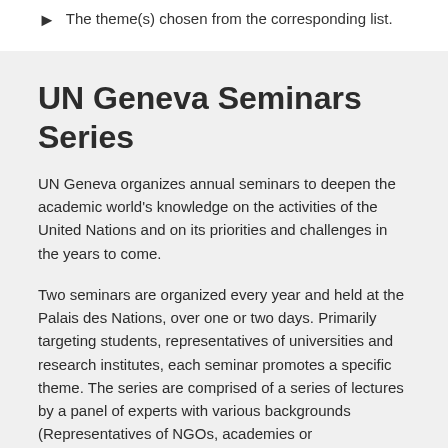The theme(s) chosen from the corresponding list.
UN Geneva Seminars Series
UN Geneva organizes annual seminars to deepen the academic world's knowledge on the activities of the United Nations and on its priorities and challenges in the years to come.
Two seminars are organized every year and held at the Palais des Nations, over one or two days. Primarily targeting students, representatives of universities and research institutes, each seminar promotes a specific theme. The series are comprised of a series of lectures by a panel of experts with various backgrounds (Representatives of NGOs, academies or administrations; experts from UN Agencies or...